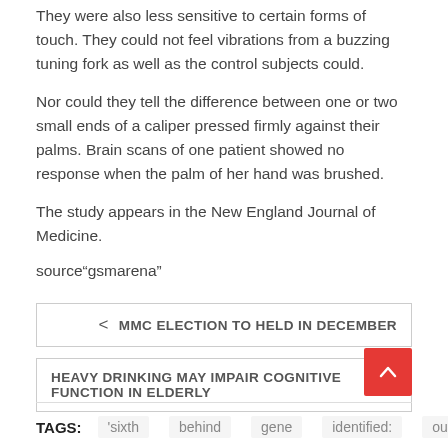They were also less sensitive to certain forms of touch. They could not feel vibrations from a buzzing tuning fork as well as the control subjects could.
Nor could they tell the difference between one or two small ends of a caliper pressed firmly against their palms. Brain scans of one patient showed no response when the palm of her hand was brushed.
The study appears in the New England Journal of Medicine.
source“gsmarena”
< MMC ELECTION TO HELD IN DECEMBER
HEAVY DRINKING MAY IMPAIR COGNITIVE FUNCTION IN ELDERLY >
TAGS: 'sixth  behind  gene  identified:  our